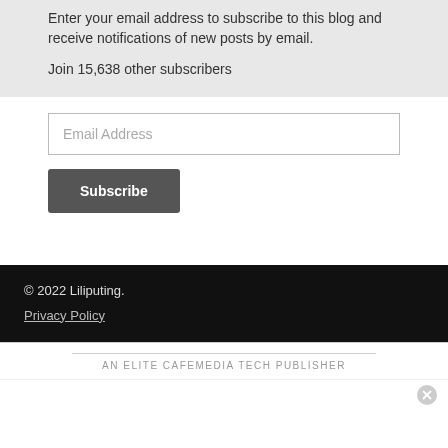Enter your email address to subscribe to this blog and receive notifications of new posts by email.
Join 15,638 other subscribers
Email Address
Subscribe
© 2022 Liliputing.
Privacy Policy
AN ELITE CAFEMEDIA TECH PUBLISHER